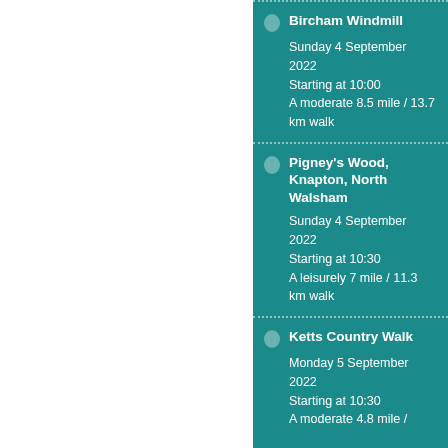Bircham Windmill
Sunday 4 September 2022
Starting at 10:00
A moderate 8.5 mile / 13.7 km walk
Pigney's Wood, Knapton, North Walsham
Sunday 4 September 2022
Starting at 10:30
A leisurely 7 mile / 11.3 km walk
Ketts Country Walk
Monday 5 September 2022
Starting at 10:30
A moderate 4.8 mile / ...